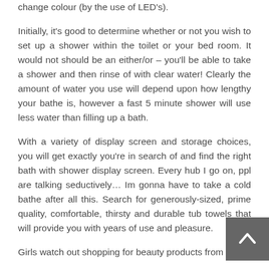change colour (by the use of LED's).
Initially, it's good to determine whether or not you wish to set up a shower within the toilet or your bed room. It would not should be an either/or – you'll be able to take a shower and then rinse of with clear water! Clearly the amount of water you use will depend upon how lengthy your bathe is, however a fast 5 minute shower will use less water than filling up a bath.
With a variety of display screen and storage choices, you will get exactly you're in search of and find the right bath with shower display screen. Every hub I go on, ppl are talking seductively… Im gonna have to take a cold bathe after all this. Search for generously-sized, prime quality, comfortable, thirsty and durable tub towels that will provide you with years of use and pleasure.
Girls watch out shopping for beauty products from